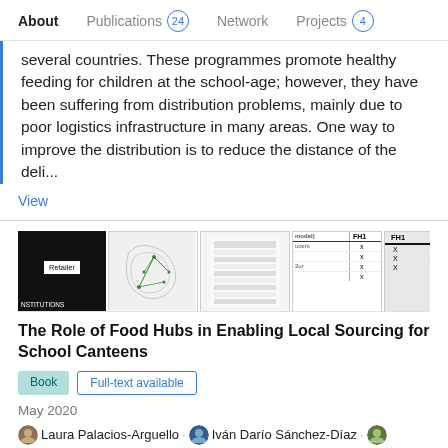About  Publications 24  Network  Projects 4
several countries. These programmes promote healthy feeding for children at the school-age; however, they have been suffering from distribution problems, mainly due to poor logistics infrastructure in many areas. One way to improve the distribution is to reduce the distance of the deli...
View
[Figure (other): Strip of 5 thumbnail images for publication: black image with Retailer label, map of Spain with green routes, document/table image, table with FH1 column, and partially visible table with +3 overlay]
The Role of Food Hubs in Enabling Local Sourcing for School Canteens
Book  Full-text available
May 2020
Laura Palacios-Arguello · Iván Darío Sánchez-Díaz · Jesus Gonzalez-Feliu · Natacha Gondran
View